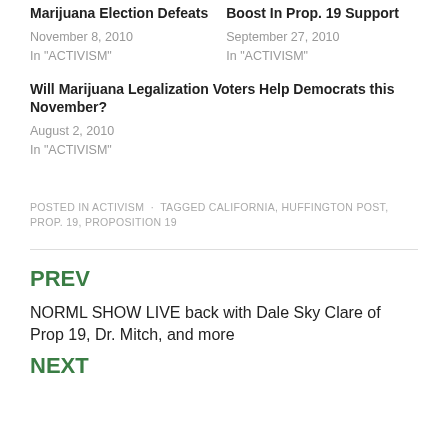Marijuana Election Defeats
Boost In Prop. 19 Support
November 8, 2010
In "ACTIVISM"
September 27, 2010
In "ACTIVISM"
Will Marijuana Legalization Voters Help Democrats this November?
August 2, 2010
In "ACTIVISM"
POSTED IN ACTIVISM · TAGGED CALIFORNIA, HUFFINGTON POST, PROP. 19, PROPOSITION 19
PREV
NORML SHOW LIVE back with Dale Sky Clare of Prop 19, Dr. Mitch, and more
NEXT